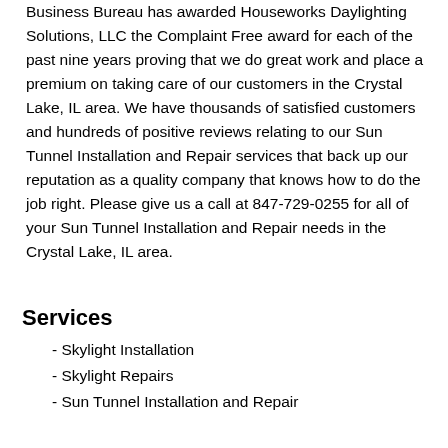Business Bureau has awarded Houseworks Daylighting Solutions, LLC the Complaint Free award for each of the past nine years proving that we do great work and place a premium on taking care of our customers in the Crystal Lake, IL area. We have thousands of satisfied customers and hundreds of positive reviews relating to our Sun Tunnel Installation and Repair services that back up our reputation as a quality company that knows how to do the job right. Please give us a call at 847-729-0255 for all of your Sun Tunnel Installation and Repair needs in the Crystal Lake, IL area.
Services
- Skylight Installation
- Skylight Repairs
- Sun Tunnel Installation and Repair